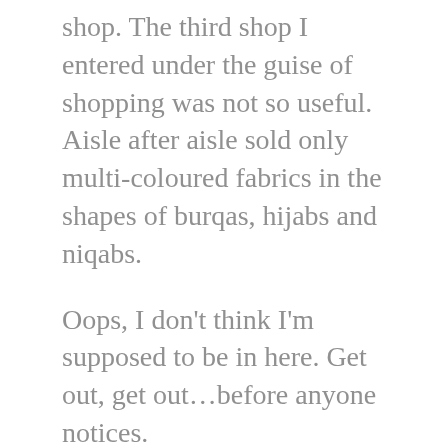shop. The third shop I entered under the guise of shopping was not so useful. Aisle after aisle sold only multi-coloured fabrics in the shapes of burqas, hijabs and niqabs.
Oops, I don't think I'm supposed to be in here. Get out, get out…before anyone notices.
Soon my problems began. Avenue no 2 did not hold a supermarket, and I had to return to the intersection yet again.
I was spotted.
A sweaty, tired, anxious, jetlagged Caucasian in hiking clothes stands out on the sultry streets of Rabat, and I soon had company.